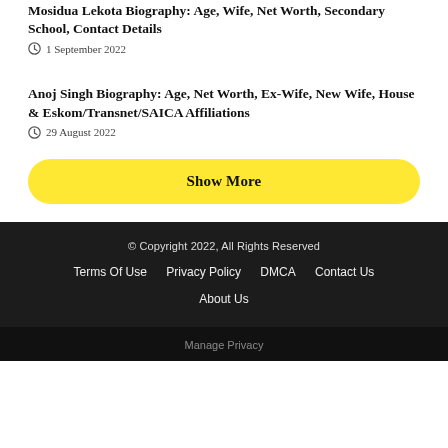Mosidua Lekota Biography: Age, Wife, Net Worth, Secondary School, Contact Details
1 September 2022
Anoj Singh Biography: Age, Net Worth, Ex-Wife, New Wife, House & Eskom/Transnet/SAICA Affiliations
29 August 2022
Show More
© Copyright 2022, All Rights Reserved
Terms Of Use   Privacy Policy   DMCA   Contact Us
About Us
Manage Privacy